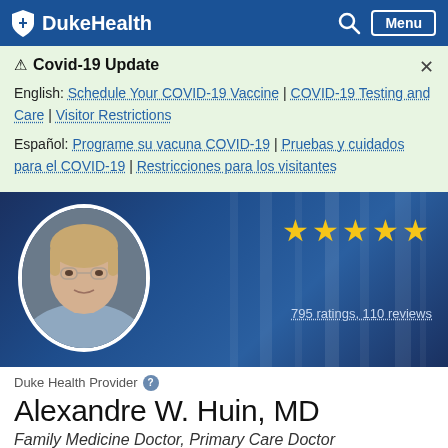DukeHealth
⚠ Covid-19 Update
English: Schedule Your COVID-19 Vaccine | COVID-19 Testing and Care | Visitor Restrictions
Español: Programe su vacuna COVID-19 | Pruebas y cuidados para el COVID-19 | Restricciones para los visitantes
[Figure (photo): Photo of Dr. Alexandre W. Huin, MD with 5 star rating and 795 ratings, 110 reviews on a dark blue background]
Duke Health Provider
Alexandre W. Huin, MD
Family Medicine Doctor, Primary Care Doctor